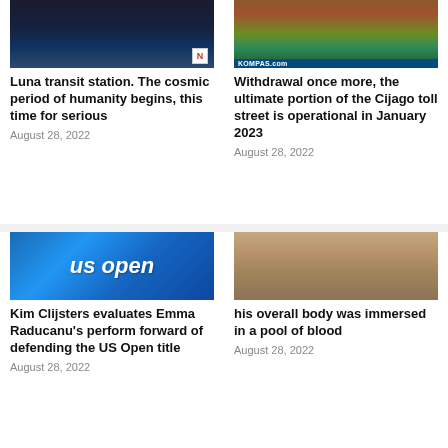[Figure (photo): Dark image of rocket/space launch site at night with a small N logo in bottom right corner]
Luna transit station. The cosmic period of humanity begins, this time for serious
August 28, 2022
[Figure (photo): Aerial photo of flooded area with Kompas.com watermark at bottom]
Withdrawal once more, the ultimate portion of the Cijago toll street is operational in January 2023
August 28, 2022
[Figure (photo): Tennis player in white outfit with US Open blue banner backdrop]
Kim Clijsters evaluates Emma Raducanu’s perform forward of defending the US Open title
August 28, 2022
[Figure (photo): Apartment building exterior with balconies, beige/tan colored facade]
his overall body was immersed in a pool of blood
August 28, 2022